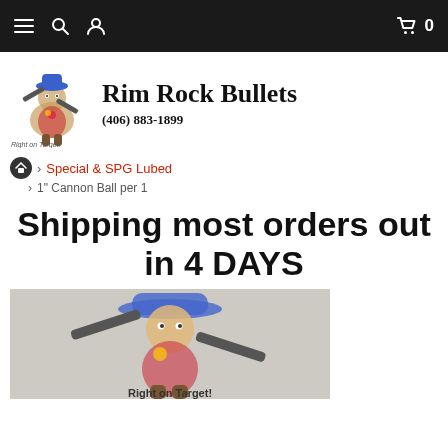Rim Rock Bullets — Navigation bar with menu, search, account, cart (0)
[Figure (logo): Rim Rock Bullets logo with mascot character (cowboy-type figure with guns), tagline 'Right on Target!', phone (406) 883-1899]
Special & SPG Lubed
1" Cannon Ball per 1
Shipping most orders out in 4 DAYS
[Figure (illustration): Rim Rock Bullets mascot illustration on gray background with text 'Right on Target!' at bottom]